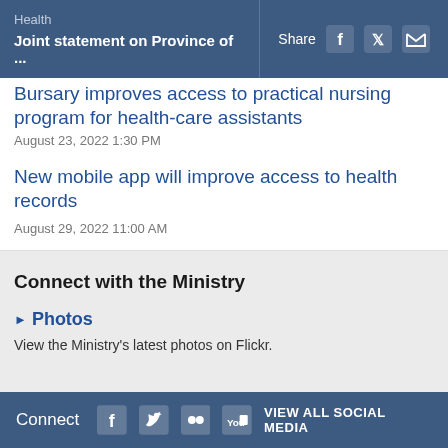Health | Joint statement on Province of ...
Bursary improves access to practical nursing program for health-care assistants
August 23, 2022 1:30 PM
New mobile app will improve access to health records
August 29, 2022 11:00 AM
Connect with the Ministry
Photos
View the Ministry's latest photos on Flickr.
Connect  VIEW ALL SOCIAL MEDIA